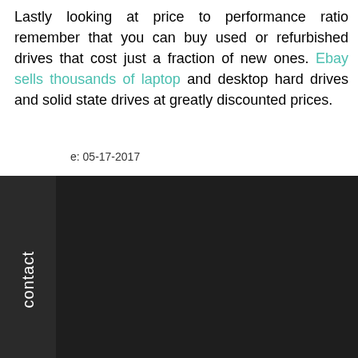Lastly looking at price to performance ratio remember that you can buy used or refurbished drives that cost just a fraction of new ones. Ebay sells thousands of laptop and desktop hard drives and solid state drives at greatly discounted prices.
e: 05-17-2017
contact
Help
How It Works?
Contact Us
Custom Quote
FAQ
Packing & Shipping
Dell Laptop Models
Sell Laptop Pages